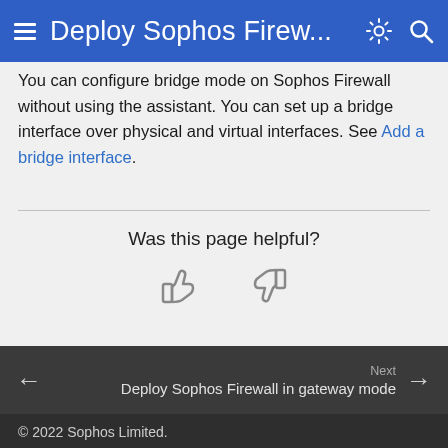Deploy Sophos Firew...
You can configure bridge mode on Sophos Firewall without using the assistant. You can set up a bridge interface over physical and virtual interfaces. See Add a bridge interface.
Was this page helpful?
[Figure (illustration): Thumbs up and thumbs down icons for page feedback]
Next: Deploy Sophos Firewall in gateway mode
© 2022 Sophos Limited.